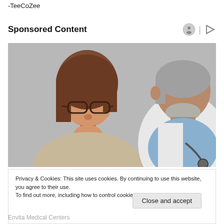-TeeCoZee
Sponsored Content
[Figure (photo): A middle-aged woman wearing glasses and a beige top sits with her chin resting on her hand, looking down with a concerned expression, while an older male doctor in a white coat with a stethoscope looks at her from the right side.]
Privacy & Cookies: This site uses cookies. By continuing to use this website, you agree to their use.
To find out more, including how to control cookies, see here: Cookie Policy
Close and accept
Envita Medical Centers